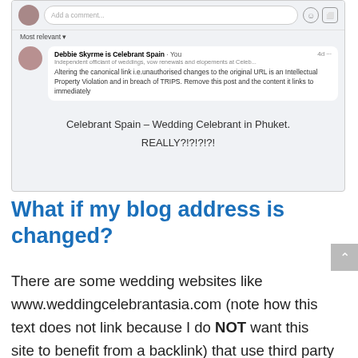[Figure (screenshot): Screenshot of a Facebook comment showing Debbie Skyrme is Celebrant Spain commenting about intellectual property violation regarding canonical link changes. Below the comment box shows 'Celebrant Spain – Wedding Celebrant in Phuket.' and 'REALLY?!?!?!?!']
What if my blog address is changed?
There are some wedding websites like www.weddingcelebrantasia.com (note how this text does not link because I do NOT want this site to benefit from a backlink) that use third party processes to automatically vacuum up any content with celebrant and wedding related keywords and republish them to their own